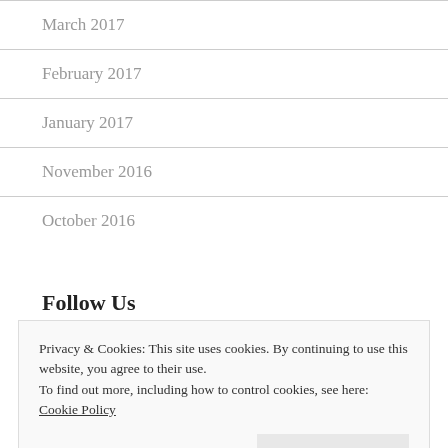March 2017
February 2017
January 2017
November 2016
October 2016
Follow Us
Privacy & Cookies: This site uses cookies. By continuing to use this website, you agree to their use.
To find out more, including how to control cookies, see here: Cookie Policy
Close and accept